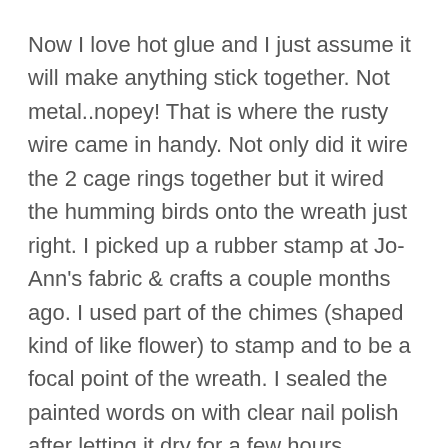Now I love hot glue and I just assume it will make anything stick together.  Not metal..nopey!  That is where the  rusty wire came in handy.  Not only did it wire the 2 cage rings together but it wired the humming birds onto the wreath just right.  I picked up a rubber stamp at  Jo-Ann's fabric & crafts a couple months ago.   I used part of the chimes (shaped kind of like flower) to stamp  and to be a focal point of the wreath.  I sealed the painted words on with clear nail polish after letting it dry for a few hours.
Picture below shows my supplies and the creation.